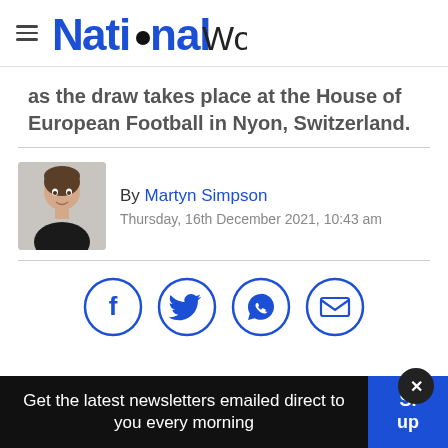National World
as the draw takes place at the House of European Football in Nyon, Switzerland.
By Martyn Simpson
Thursday, 16th December 2021, 10:43 am
[Figure (other): Social sharing icons: Facebook, Twitter, WhatsApp, Email]
Get the latest newsletters emailed direct to you every morning